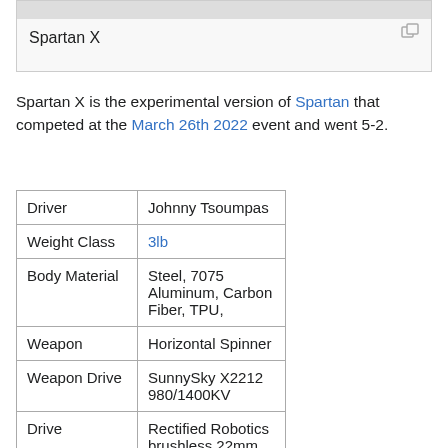[Figure (other): Gray image area at top]
Spartan X
Spartan X is the experimental version of Spartan that competed at the March 26th 2022 event and went 5-2.
| Driver | Johnny Tsoumpas |
| Weight Class | 3lb |
| Body Material | Steel, 7075 Aluminum, Carbon Fiber, TPU, |
| Weapon | Horizontal Spinner |
| Weapon Drive | SunnySky X2212 980/1400KV |
| Drive | Rectified Robotics brushless 22mm |
| Power | 4s 450mah LiPo |